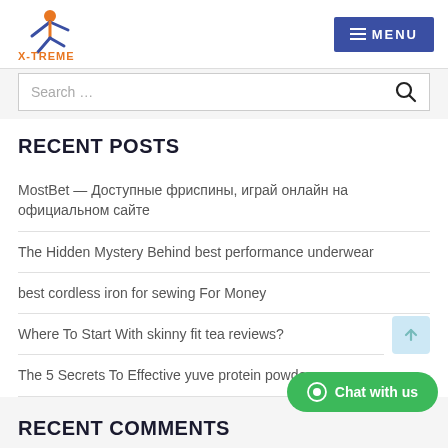[Figure (logo): X-TREME logo with orange/blue figure icon and orange/blue text]
[Figure (screenshot): MENU button in dark blue]
Search …
RECENT POSTS
MostBet — Доступные фриспины, играй онлайн на официальном сайте
The Hidden Mystery Behind best performance underwear
best cordless iron for sewing For Money
Where To Start With skinny fit tea reviews?
The 5 Secrets To Effective yuve protein powder
Chat with us
RECENT COMMENTS